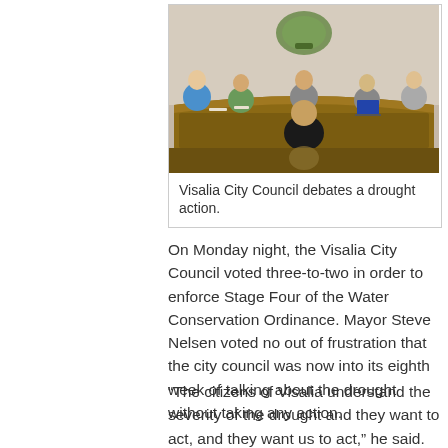[Figure (photo): Visalia City Council members seated at a curved wooden council dais in a meeting room, with a city seal/coat of arms visible on the wall above. Several council members and a person standing at a podium are visible.]
Visalia City Council debates a drought action.
On Monday night, the Visalia City Council voted three-to-two in order to enforce Stage Four of the Water Conservation Ordinance. Mayor Steve Nelsen voted no out of frustration that the city council was now into its eighth week of talking about the drought without taking any action.
“The citizens of Visalia understand the severity of the drought and they want to act, and they want us to act,” he said.